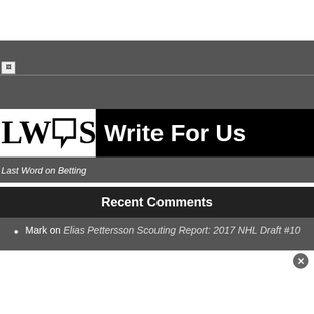[Figure (logo): LWS Write For Us banner logo with speech bubble icon]
Last Word on Betting
Recent Comments
Mark on Elias Pettersson Scouting Report: 2017 NHL Draft #10